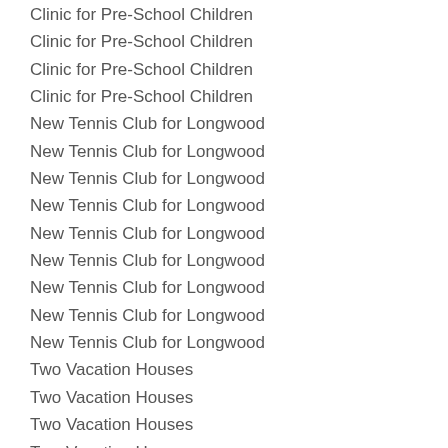Clinic for Pre-School Children
Clinic for Pre-School Children
Clinic for Pre-School Children
Clinic for Pre-School Children
New Tennis Club for Longwood
New Tennis Club for Longwood
New Tennis Club for Longwood
New Tennis Club for Longwood
New Tennis Club for Longwood
New Tennis Club for Longwood
New Tennis Club for Longwood
New Tennis Club for Longwood
New Tennis Club for Longwood
Two Vacation Houses
Two Vacation Houses
Two Vacation Houses
Two Vacation Houses
Two Vacation Houses
Two Vacation Houses
Two Vacation Houses
Two Vacation Houses